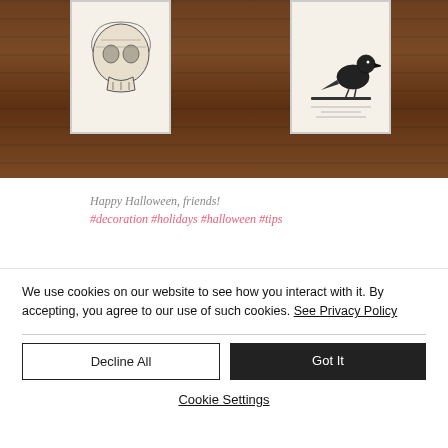[Figure (photo): Vintage decorative prints of a skull and a crow/raven mounted on a rustic wooden plank wall background]
Happy Halloween, friends!
#decoration #holidays #halloween #tips
We use cookies on our website to see how you interact with it. By accepting, you agree to our use of such cookies. See Privacy Policy
Decline All
Got It
Cookie Settings